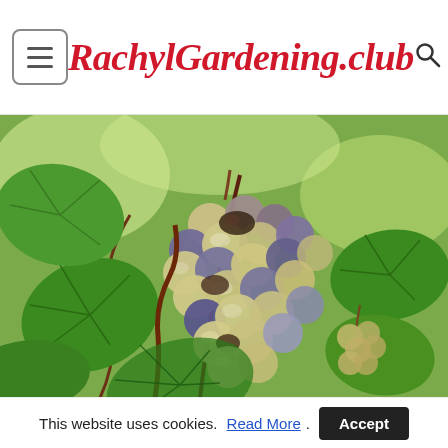RachylGardening.club
[Figure (photo): Close-up photograph of a bunch of grapes hanging on a vine, surrounded by green leaves. The grapes are a mix of pale green-yellow and blue-purple tones, some appearing to have noble rot (botrytis). A second smaller bunch of grapes is visible to the right in the background. Sunlight filters through the foliage.]
This website uses cookies. Read More. Accept